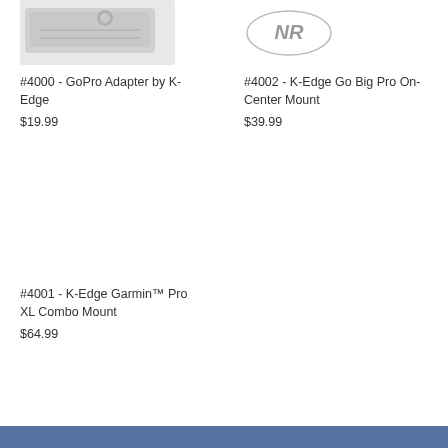[Figure (photo): Partial product image of GoPro Adapter by K-Edge, showing a silver metal adapter piece with a screw/ball joint]
#4000 - GoPro Adapter by K-Edge
$19.99
[Figure (logo): NR logo - stylized NR letters in an oval, gray color]
#4002 - K-Edge Go Big Pro On-Center Mount
$39.99
#4001 - K-Edge Garmin™ Pro XL Combo Mount
$64.99